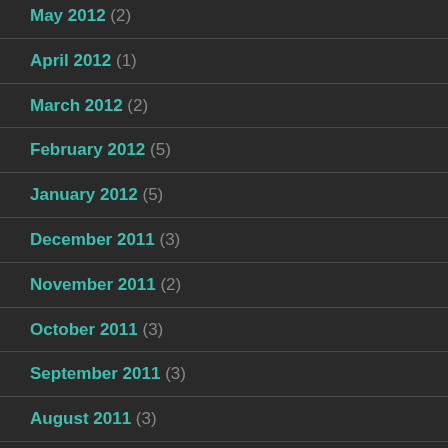May 2012 (2)
April 2012 (1)
March 2012 (2)
February 2012 (5)
January 2012 (5)
December 2011 (3)
November 2011 (2)
October 2011 (3)
September 2011 (3)
August 2011 (3)
July 2011 (3)